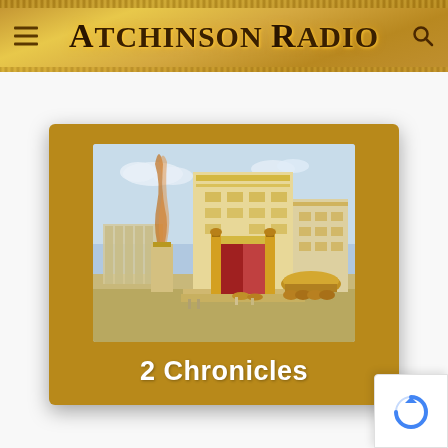Atchinson Radio
[Figure (illustration): Solomon's Temple illustration with large gold-trimmed building, red curtained entrance, golden pillars, bronze sea on ox statues, altar, and smoke rising — painting style artwork on a gold/brown card background with text '2 Chronicles']
2 Chronicles